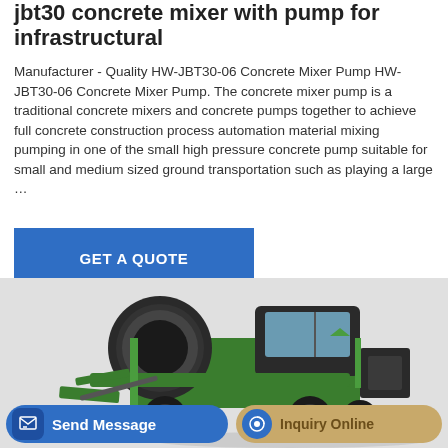jbt30 concrete mixer with pump for infrastructural
Manufacturer - Quality HW-JBT30-06 Concrete Mixer Pump HW-JBT30-06 Concrete Mixer Pump. The concrete mixer pump is a traditional concrete mixers and concrete pumps together to achieve full concrete construction process automation material mixing pumping in one of the small high pressure concrete pump suitable for small and medium sized ground transportation such as playing a large …
[Figure (other): Blue GET A QUOTE button]
[Figure (photo): Green concrete mixer truck with pump, self-loading, photographed on a light grey background]
Send Message   Inquiry Online